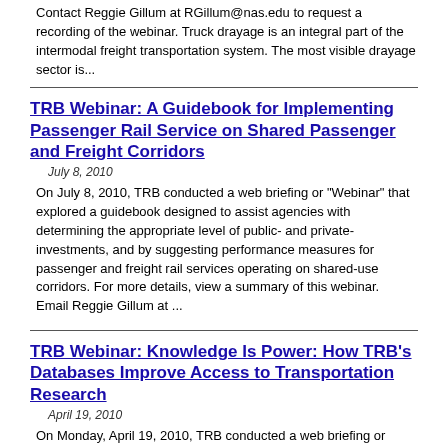Contact Reggie Gillum at RGillum@nas.edu to request a recording of the webinar. Truck drayage is an integral part of the intermodal freight transportation system. The most visible drayage sector is...
TRB Webinar: A Guidebook for Implementing Passenger Rail Service on Shared Passenger and Freight Corridors
July 8, 2010
On July 8, 2010, TRB conducted a web briefing or "Webinar" that explored a guidebook designed to assist agencies with determining the appropriate level of public- and private- investments, and by suggesting performance measures for passenger and freight rail services operating on shared-use corridors. For more details, view a summary of this webinar.  Email Reggie Gillum at ...
TRB Webinar: Knowledge Is Power: How TRB's Databases Improve Access to Transportation Research
April 19, 2010
On Monday, April 19, 2010, TRB conducted a web briefing or "webinar" that explored practical tips for using the Transportation Research Information Services (TRIS), Research in Progress (RiP), and Research Needs Statements (RNS) databases. For more details,  view a summary of this webinar. Watch a recording of the webinar. You will need  Windows Media Player 9 or higher to v...
TRB Webinar: Funding Options for Freight